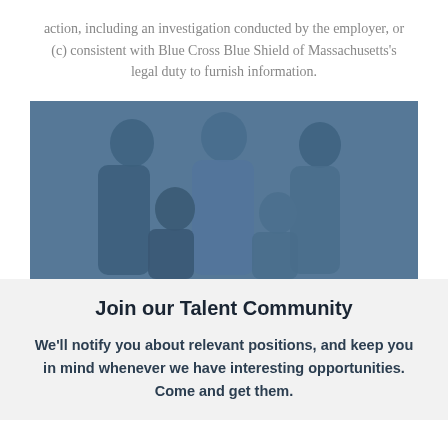action, including an investigation conducted by the employer, or (c) consistent with Blue Cross Blue Shield of Massachusetts's legal duty to furnish information.
[Figure (photo): A group photo of five smiling people with a blue tonal overlay, representing a diverse team or community]
Join our Talent Community
We'll notify you about relevant positions, and keep you in mind whenever we have interesting opportunities. Come and get them.